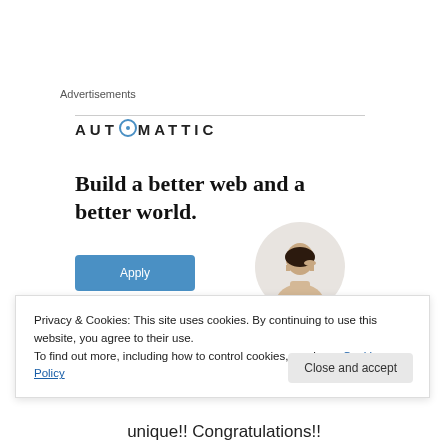Advertisements
[Figure (logo): Automattic logo with compass-like circle replacing the O in AUTOMATTIC]
Build a better web and a better world.
[Figure (illustration): Blue Apply button and a circular photo of a man with glasses thinking]
Privacy & Cookies: This site uses cookies. By continuing to use this website, you agree to their use.
To find out more, including how to control cookies, see here: Cookie Policy
Close and accept
unique!! Congratulations!!